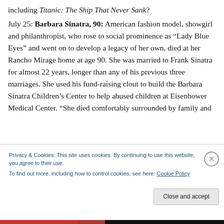including Titanic: The Ship That Never Sank?
July 25: Barbara Sinatra, 90: American fashion model, showgirl and philanthropist, who rose to social prominence as “Lady Blue Eyes” and went on to develop a legacy of her own, died at her Rancho Mirage home at age 90. She was married to Frank Sinatra for almost 22 years, longer than any of his previous three marriages. She used his fund-raising clout to build the Barbara Sinatra Children’s Center to help abused children at Eisenhower Medical Center. “She died comfortably surrounded by family and
Privacy & Cookies: This site uses cookies. By continuing to use this website, you agree to their use.
To find out more, including how to control cookies, see here: Cookie Policy
Close and accept